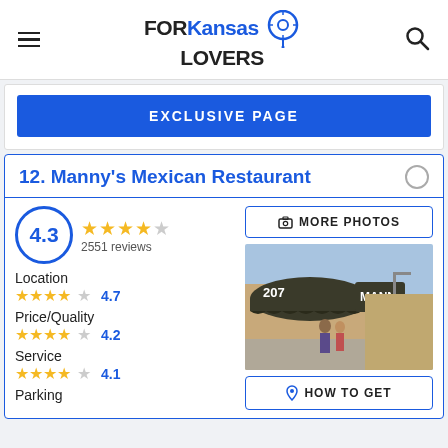FORKansas LOVERS
EXCLUSIVE PAGE
12. Manny's Mexican Restaurant
4.3 — 2551 reviews
Location 4.7
Price/Quality 4.2
Service 4.1
Parking
[Figure (photo): Exterior of Manny's Mexican Restaurant showing entrance with awning and street number 207]